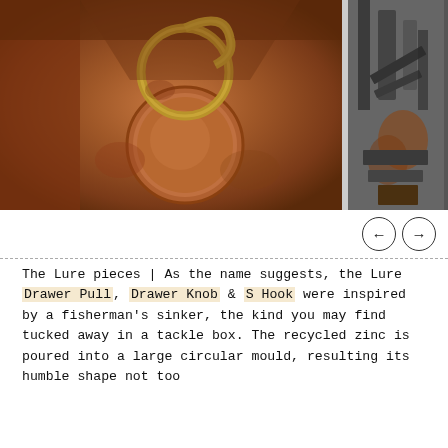[Figure (photo): Two photos side by side: left shows a close-up of a rusty metal piece with a brass/gold circular ring pull (drawer pull) against a rusted textured iron surface. Right shows a partial view of dark metal machinery or hardware parts.]
The Lure pieces | As the name suggests, the Lure Drawer Pull, Drawer Knob & S Hook were inspired by a fisherman's sinker, the kind you may find tucked away in a tackle box. The recycled zinc is poured into a large circular mould, resulting its humble shape not too far from found objects in the wild [o]...